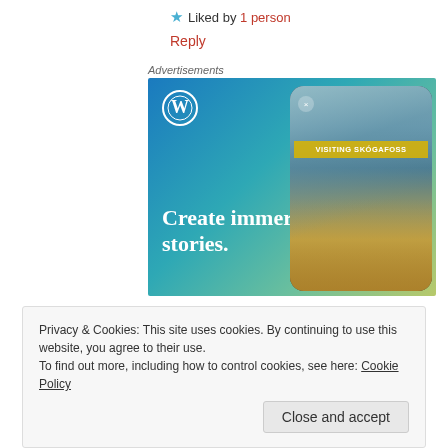★ Liked by 1 person
Reply
Advertisements
[Figure (illustration): WordPress advertisement banner showing 'Create immersive stories.' with a phone showing a waterfall photo captioned 'VISITING SKÓGAFOSS'. WordPress logo in top left. Gradient blue-green-yellow background.]
Privacy & Cookies: This site uses cookies. By continuing to use this website, you agree to their use.
To find out more, including how to control cookies, see here: Cookie Policy
Close and accept